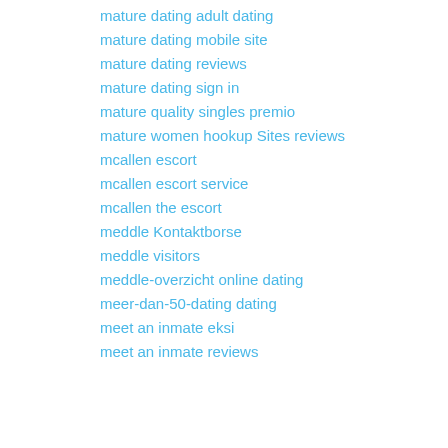mature dating adult dating
mature dating mobile site
mature dating reviews
mature dating sign in
mature quality singles premio
mature women hookup Sites reviews
mcallen escort
mcallen escort service
mcallen the escort
meddle Kontaktborse
meddle visitors
meddle-overzicht online dating
meer-dan-50-dating dating
meet an inmate eksi
meet an inmate reviews